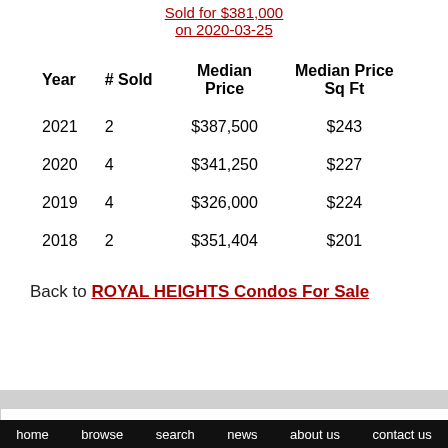Sold for $381,000 on 2020-03-25
| Year | # Sold | Median Price | Median Price Sq Ft |
| --- | --- | --- | --- |
| 2021 | 2 | $387,500 | $243 |
| 2020 | 4 | $341,250 | $227 |
| 2019 | 4 | $326,000 | $224 |
| 2018 | 2 | $351,404 | $201 |
Back to ROYAL HEIGHTS Condos For Sale
home  browse  search  news  about us  contact us